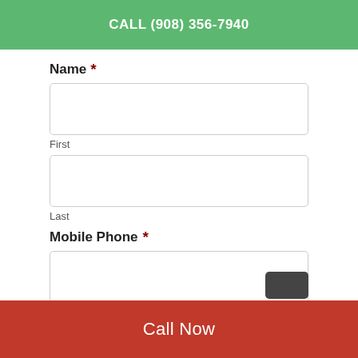CALL (908) 356-7940
Name *
First
Last
Mobile Phone *
Call Now